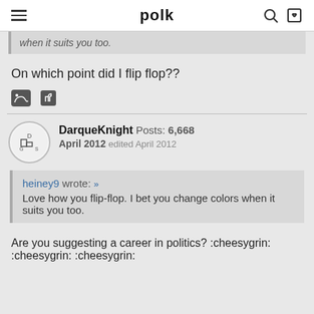polk
when it suits you too.
On which point did I flip flop??
DarqueKnight  Posts: 6,668  April 2012  edited April 2012
heiney9 wrote: »
Love how you flip-flop. I bet you change colors when it suits you too.
Are you suggesting a career in politics? :cheesygrin: :cheesygrin: :cheesygrin: